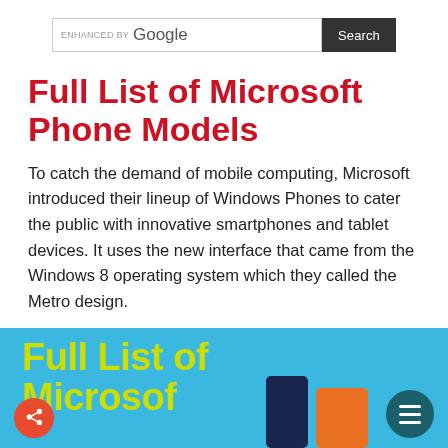[Figure (screenshot): Google search bar with 'ENHANCED BY Google' label and Search button]
Full List of Microsoft Phone Models
To catch the demand of mobile computing, Microsoft introduced their lineup of Windows Phones to cater the public with innovative smartphones and tablet devices. It uses the new interface that came from the Windows 8 operating system which they called the Metro design.
[Figure (infographic): Infographic with blue background showing 'Full List of Microsoft' title in yellow-green text, phone images, a red share button, and a teal menu button]